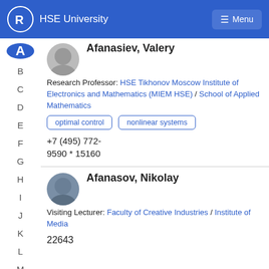HSE University
Afanasiev, Valery
Research Professor: HSE Tikhonov Moscow Institute of Electronics and Mathematics (MIEM HSE) / School of Applied Mathematics
optimal control
nonlinear systems
+7 (495) 772-9590 * 15160
Afanasov, Nikolay
Visiting Lecturer: Faculty of Creative Industries / Institute of Media
22643